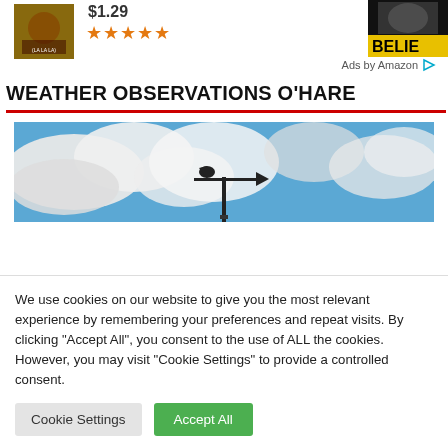[Figure (photo): Album cover art with orange/green background and artist photo, showing $1.29 price and 5 gold stars below]
$1.29
★★★★★
[Figure (photo): Album cover with black and white photo of singer and yellow BELIE text visible]
Ads by Amazon ▷
WEATHER OBSERVATIONS O'HARE
[Figure (photo): Photo of blue sky with white clouds and a weather vane silhouette in the center]
We use cookies on our website to give you the most relevant experience by remembering your preferences and repeat visits. By clicking "Accept All", you consent to the use of ALL the cookies. However, you may visit "Cookie Settings" to provide a controlled consent.
Cookie Settings
Accept All